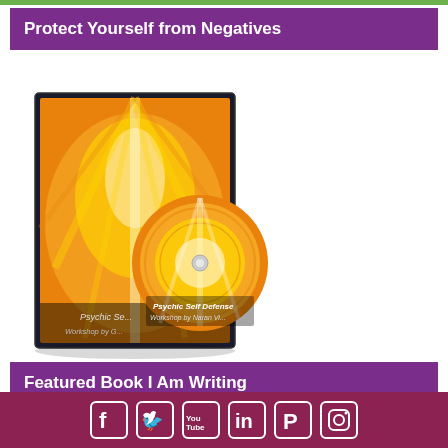Protect Yourself from Negatives
[Figure (photo): DVD/CD product image for Psychic Self Defense Workshop, showing a case and disc with orange and gold swirling energy artwork]
Featured Book I Am Writing
The Ascension and the Prism...
Social media icons: Facebook, Twitter, YouTube, LinkedIn, Pinterest, Instagram